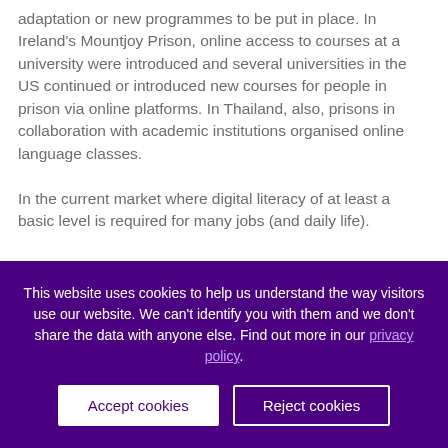adaptation or new programmes to be put in place. In Ireland's Mountjoy Prison, online access to courses at a university were introduced and several universities in the US continued or introduced new courses for people in prison via online platforms. In Thailand, also, prisons in collaboration with academic institutions organised online language classes.

In the current market where digital literacy of at least a basic level is required for many jobs (and daily life).
This website uses cookies to help us understand the way visitors use our website. We can't identify you with them and we don't share the data with anyone else. Find out more in our privacy policy.